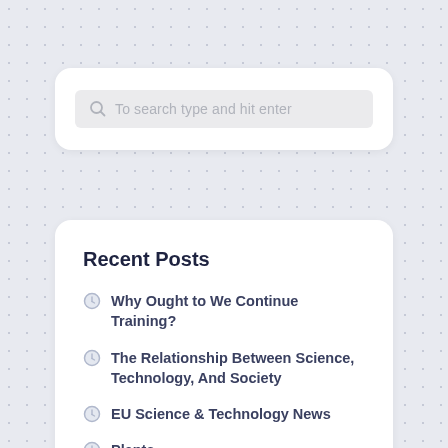[Figure (screenshot): Search input box with magnifying glass icon and placeholder text 'To search type and hit enter' on a light grey background inside a white rounded card]
Recent Posts
Why Ought to We Continue Training?
The Relationship Between Science, Technology, And Society
EU Science & Technology News
Plants
How Does Science Associated To Know-how?